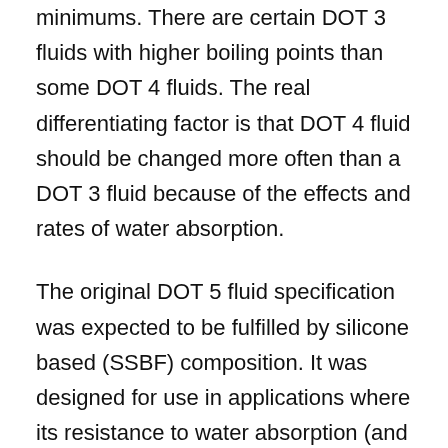minimums. There are certain DOT 3 fluids with higher boiling points than some DOT 4 fluids. The real differentiating factor is that DOT 4 fluid should be changed more often than a DOT 3 fluid because of the effects and rates of water absorption.
The original DOT 5 fluid specification was expected to be fulfilled by silicone based (SSBF) composition. It was designed for use in applications where its resistance to water absorption (and therefore low corrosion) was desired – like in military equipment. It has also found use in antique cars because it does not dissolve paint finishes. With SSBF, unfortunately, these characteristics were only